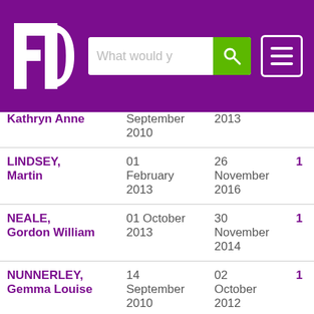[Figure (screenshot): Website header with purple background showing FD logo, search bar with 'What would y' placeholder and green search button, and hamburger menu icon on the right]
| Name | Appointed | Resigned | Count |
| --- | --- | --- | --- |
| Kathryn Anne | September 2010 | 2013 |  |
| LINDSEY, Martin | 01 February 2013 | 26 November 2016 | 1 |
| NEALE, Gordon William | 01 October 2013 | 30 November 2014 | 1 |
| NUNNERLEY, Gemma Louise | 14 September 2010 | 02 October 2012 | 1 |
| ROBERTS, Colin James | 14 September 2010 | 05 January 2013 | 1 |